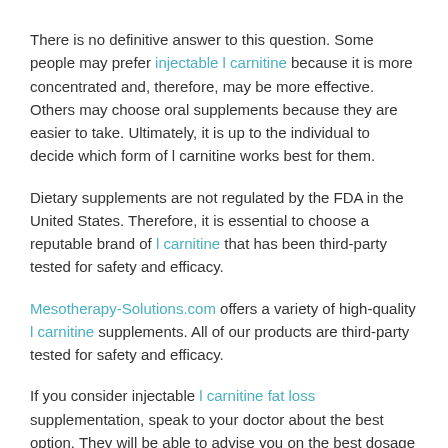There is no definitive answer to this question. Some people may prefer injectable l carnitine because it is more concentrated and, therefore, may be more effective. Others may choose oral supplements because they are easier to take. Ultimately, it is up to the individual to decide which form of l carnitine works best for them.
Dietary supplements are not regulated by the FDA in the United States. Therefore, it is essential to choose a reputable brand of l carnitine that has been third-party tested for safety and efficacy.
Mesotherapy-Solutions.com offers a variety of high-quality l carnitine supplements. All of our products are third-party tested for safety and efficacy.
If you consider injectable l carnitine fat loss supplementation, speak to your doctor about the best option. They will be able to advise you on the best dosage and form of l carnitine for your needs.